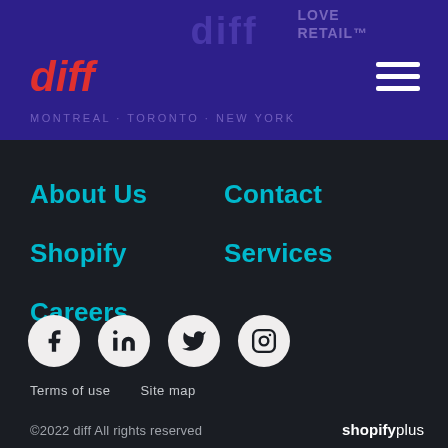[Figure (logo): diff agency header with red italic logo, dark purple background, 'LOVE RETAIL' tagline, hamburger menu icon, cities text MONTREAL · TORONTO · NEW YORK]
About Us
Contact
Shopify
Services
Careers
[Figure (infographic): Social media icons: Facebook, LinkedIn, Twitter, Instagram — white circles on dark background]
Terms of use   Site map
©2022 diff All rights reserved   shopifyplus